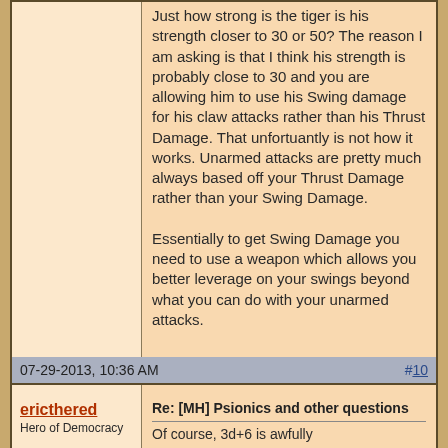Just how strong is the tiger is his strength closer to 30 or 50? The reason I am asking is that I think his strength is probably close to 30 and you are allowing him to use his Swing damage for his claw attacks rather than his Thrust Damage. That unfortuantly is not how it works. Unarmed attacks are pretty much always based off your Thrust Damage rather than your Swing Damage.

Essentially to get Swing Damage you need to use a weapon which allows you better leverage on your swings beyond what you can do with your unarmed attacks.
07-29-2013, 10:36 AM
#10
ericthered
Hero of Democracy
Re: [MH] Psionics and other questions
Of course, 3d+6 is awfully